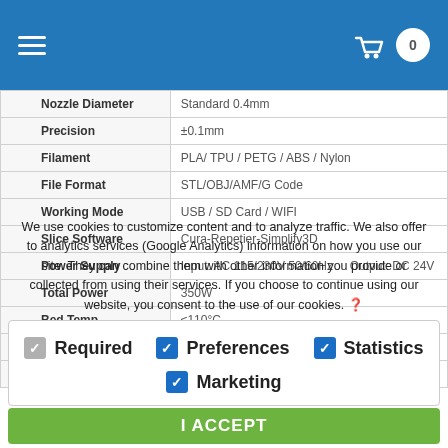Navigation header with hamburger menu and shopping cart
| Property | Value |
| --- | --- |
| Nozzle Diameter | Standard 0.4mm |
| Precision | ±0.1mm |
| Filament | PLA/ TPU / PETG / ABS / Nylon |
| File Format | STL/OBJ/AMF/G Code |
| Working Mode | USB / SD Card / WIFI |
| Slice Software | Cura-Repetier-Simplify3D |
| Power Supply | Input: AC 115/230V 50/60Hz    Output: DC 24V |
| Total Power | 350W |
| Bed Temp | ≤110°C |
| Nozzle Temp | ≤260°C |
| Resume Print | Yes |
We use cookies to customize content and to analyze traffic. We also offer to analytics services (Google Analytics) information on how you use our site. They can combine them with other information you provide or collected from using their services. If you choose to continue using our website, you consent to the use of our cookies. ?
Required  Preferences  Statistics  Marketing
I ACCEPT